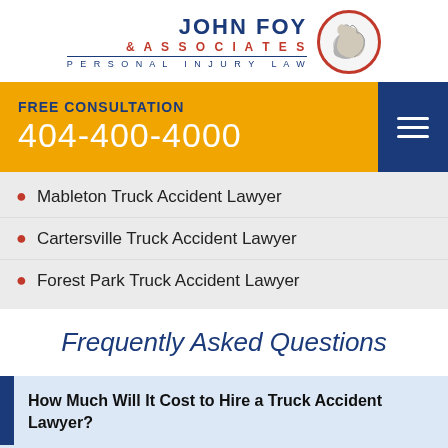[Figure (logo): John Foy & Associates Personal Injury Law logo with flexing arm icon in red circle]
FREE CONSULTATION
404-400-4000
Mableton Truck Accident Lawyer
Cartersville Truck Accident Lawyer
Forest Park Truck Accident Lawyer
Frequently Asked Questions
How Much Will It Cost to Hire a Truck Accident Lawyer?